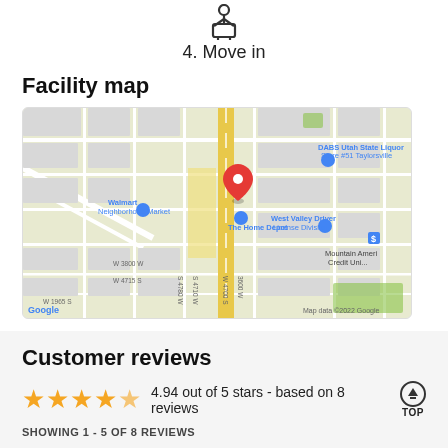[Figure (illustration): Icon showing a person moving in, carrying a box]
4. Move in
Facility map
[Figure (map): Google Map showing the facility location near The Home Depot in Taylorsville area, with nearby landmarks including Walmart Neighborhood Market, DABS Utah State Liquor Store #51 Taylorsville, West Valley Driver License Division, and Mountain America Credit Union. A red pin marks the facility location. Map data ©2022 Google.]
Customer reviews
4.94 out of 5 stars - based on 8 reviews
SHOWING 1 - 5 OF 8 REVIEWS